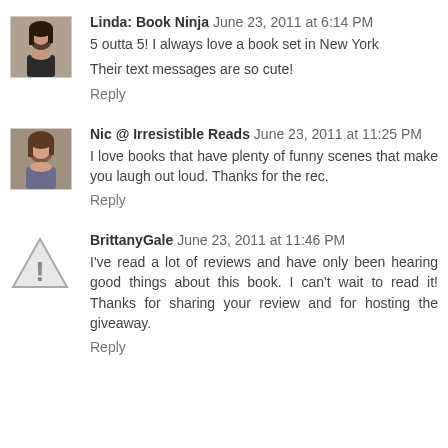Linda: Book Ninja  June 23, 2011 at 6:14 PM
5 outta 5! I always love a book set in New York
Their text messages are so cute!
Reply
Nic @ Irresistible Reads  June 23, 2011 at 11:25 PM
I love books that have plenty of funny scenes that make you laugh out loud. Thanks for the rec.
Reply
BrittanyGale  June 23, 2011 at 11:46 PM
I've read a lot of reviews and have only been hearing good things about this book. I can't wait to read it! Thanks for sharing your review and for hosting the giveaway.
Reply